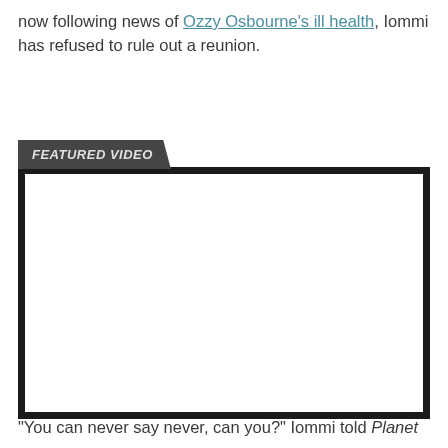now following news of Ozzy Osbourne's ill health, Iommi has refused to rule out a reunion.
[Figure (other): Featured video player embed with dark tab label reading FEATURED VIDEO and a white video frame with thick black border]
“You can never say never, can you?” Iommi told Planet